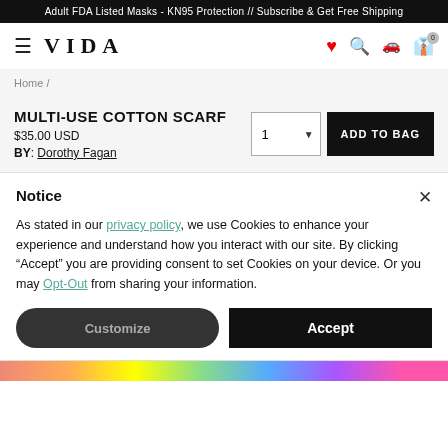Adult FDA Listed Masks - KN95 Protection // Subscribe & Get Free Shipping
[Figure (screenshot): VIDA e-commerce navigation bar with hamburger menu, VIDA logo, heart icon, search icon, shipping tracker icon, and cart icon with 0 badge]
Home /
MULTI-USE COTTON SCARF
$35.00 USD
BY: Dorothy Fagan
1 ADD TO BAG
Notice
As stated in our privacy policy, we use Cookies to enhance your experience and understand how you interact with our site. By clicking “Accept” you are providing consent to set Cookies on your device. Or you may Opt-Out from sharing your information.
Customize   Accept